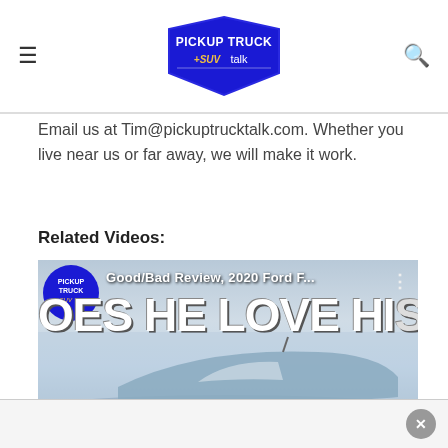PICKUP TRUCK +SUV talk
Email us at Tim@pickuptrucktalk.com. Whether you live near us or far away, we will make it work.
Related Videos:
[Figure (screenshot): Video thumbnail showing 'Good/Bad Review, 2020 Ford F...' with large bold text 'OES HE LOVE HIS' overlaid on an image of a vehicle, with Pickup Truck +SUV Talk badge in upper left]